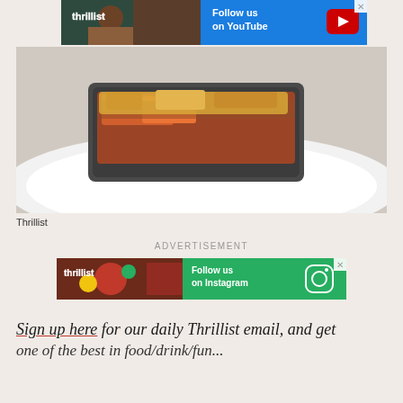[Figure (screenshot): Thrillist YouTube advertisement banner with blue Follow us on YouTube button and play icon, with food/people in background]
[Figure (photo): Close-up food photo of a dish in a dark skillet on a white plate, showing red sauced food with crispy topping, with a crosshair/target icon in bottom right]
Thrillist
ADVERTISEMENT
[Figure (screenshot): Thrillist Instagram advertisement banner with green Follow us on Instagram button and Instagram icon, with food in background]
Sign up here for our daily Thrillist email, and get one of the best in food/drink/fun...